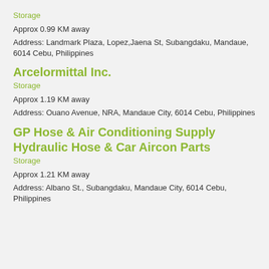Storage
Approx 0.99 KM away
Address: Landmark Plaza, Lopez,Jaena St, Subangdaku, Mandaue, 6014 Cebu, Philippines
Arcelormittal Inc.
Storage
Approx 1.19 KM away
Address: Ouano Avenue, NRA, Mandaue City, 6014 Cebu, Philippines
GP Hose & Air Conditioning Supply Hydraulic Hose & Car Aircon Parts
Storage
Approx 1.21 KM away
Address: Albano St., Subangdaku, Mandaue City, 6014 Cebu, Philippines